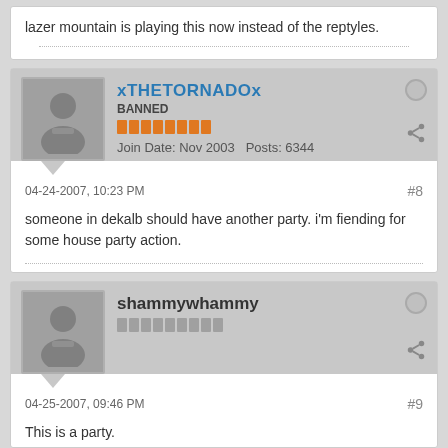lazer mountain is playing this now instead of the reptyles.
xTHETORNADOx
BANNED
Join Date: Nov 2003  Posts: 6344
04-24-2007, 10:23 PM
#8
someone in dekalb should have another party. i'm fiending for some house party action.
shammywhammy
Join Date: (not shown)
04-25-2007, 09:46 PM
#9
This is a party.